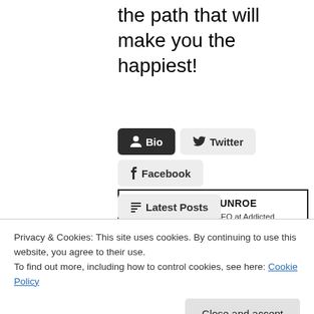the path that will make you the happiest!
[Figure (screenshot): Author bio tab bar with Bio (active, dark), Twitter, Facebook, and Latest Posts tabs]
[Figure (photo): MARKMUNROE — Founder, CEO at Addicted, with a small photo of the person in an office/store setting]
Privacy & Cookies: This site uses cookies. By continuing to use this website, you agree to their use.
To find out more, including how to control cookies, see here: Cookie Policy
Close and accept
better grooming, &